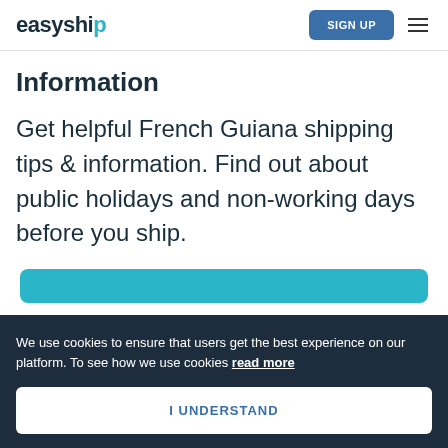easyship
Information
Get helpful French Guiana shipping tips & information. Find out about public holidays and non-working days before you ship.
We use cookies to ensure that users get the best experience on our platform. To see how we use cookies read more
I UNDERSTAND